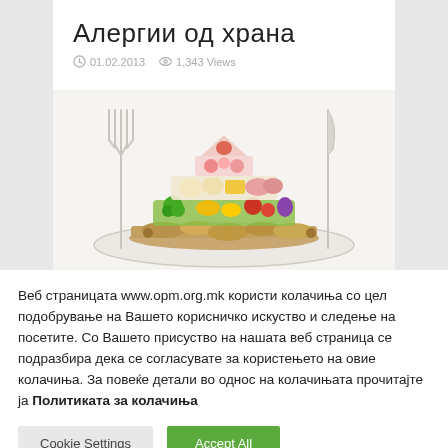Алергии од храна
01.02.2013   1,343 Views
[Figure (photo): Food pyramid with various foods arranged in a triangular stack on a white plate, with fork on left and knife on right, white background]
Веб страницата www.opm.org.mk користи колачиња со цел подобрување на Вашето корисничко искуство и следење на посетите. Со Вашето присуство на нашата веб страница се подразбира дека се согласувате за користењето на овие колачиња. За повеќе детали во однос на колачињата прочитајте ја Политиката за колачиња